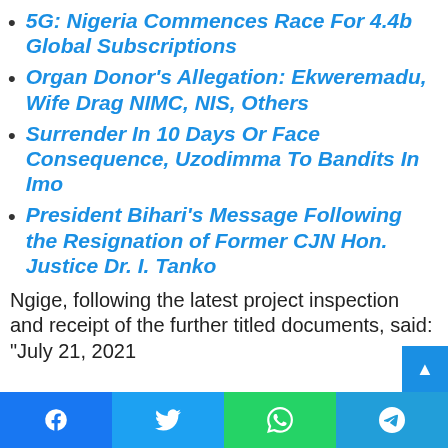5G: Nigeria Commences Race For 4.4b Global Subscriptions
Organ Donor's Allegation: Ekweremadu, Wife Drag NIMC, NIS, Others
Surrender In 10 Days Or Face Consequence, Uzodimma To Bandits In Imo
President Bihari's Message Following the Resignation of Former CJN Hon. Justice Dr. I. Tanko
Ngige, following the latest project inspection and receipt of the further titled documents, said: "July 21, 2021